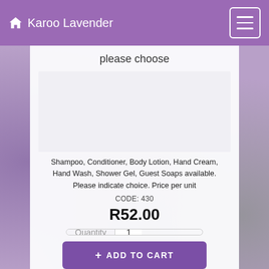Karoo Lavender
please choose
[Figure (photo): Blank product image area for lavender product selection]
Shampoo, Conditioner, Body Lotion, Hand Cream, Hand Wash, Shower Gel, Guest Soaps available. Please indicate choice. Price per unit
CODE: 430
R52.00
Quantity  1
+ ADD TO CART